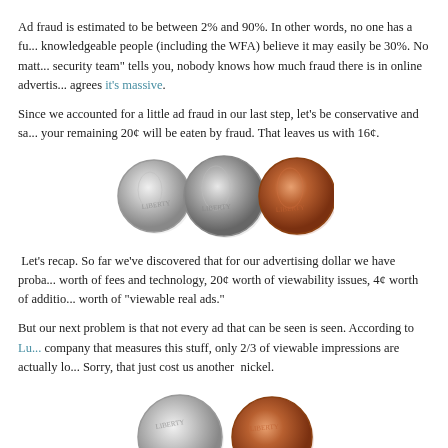Ad fraud is estimated to be between 2% and 90%. In other words, no one has a fu... knowledgeable people (including the WFA) believe it may easily be 30%. No matt... security team" tells you, nobody knows how much fraud there is in online advertis... agrees it's massive.
Since we accounted for a little ad fraud in our last step, let's be conservative and sa... your remaining 20¢ will be eaten by fraud. That leaves us with 16¢.
[Figure (photo): Three coins: a dime, a nickel, and a penny shown side by side]
Let's recap. So far we've discovered that for our advertising dollar we have proba... worth of fees and technology, 20¢ worth of viewability issues, 4¢ worth of additio... worth of "viewable real ads."
But our next problem is that not every ad that can be seen is seen. According to Lu... company that measures this stuff, only 2/3 of viewable impressions are actually lo... Sorry, that just cost us another nickel.
[Figure (photo): Two coins: a dime and a penny shown partially at bottom of page]